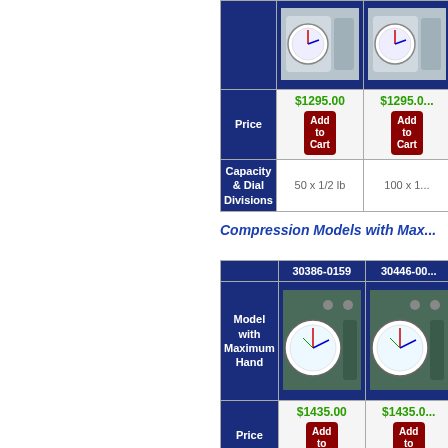|  | 30386-0159 | 30446-00... |
| --- | --- | --- |
| (image) | (product image) | (product image) |
| Price | $1295.00 Add to Cart | $1295.00 Add to Cart |
| Capacity & Dial Divisions | 50 x 1/2 lb | 100 x 1... |
Compression Models with Max...
|  | 30386-0159 | 30446-00... |
| --- | --- | --- |
| Model with Maximum Hand | (product image) | (product image) |
| Price | $1435.00 Add to Cart | $1435.00 Add to Cart |
| Capacity & Dial Divisions | 100 x 1 lb | 250 x 2-1/... |